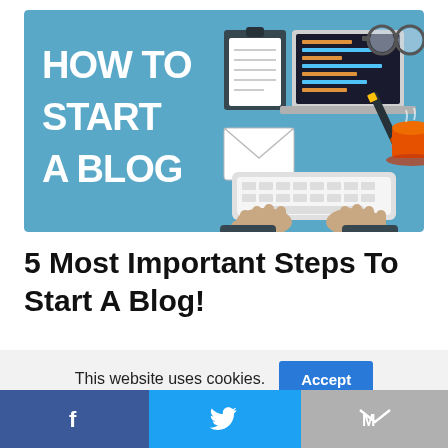[Figure (illustration): Illustrated banner: teal background with bold white text 'HOW TO START A BLOG' on the left, and flat-design icons of a clipboard, laptop with code, glasses, pencil, coffee cup, envelope, and a pair of hands typing on a keyboard on the right.]
5 Most Important Steps To Start A Blog!
1. Pick a Suitable CMS
This website uses cookies.
[Figure (infographic): Cookie consent banner with text 'This website uses cookies.' and a blue Accept button.]
[Figure (infographic): Social sharing bar at the bottom with three sections: Facebook (dark blue, f icon), Twitter (blue, bird icon), Gmail/Email (grey, M icon).]